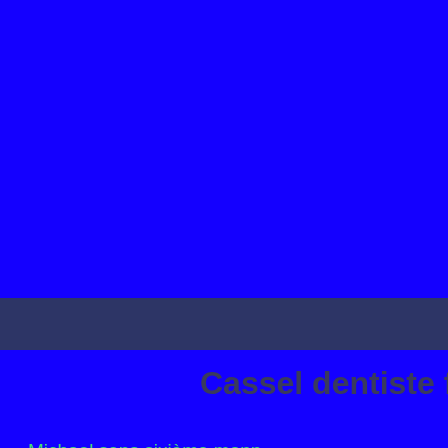[Figure (other): Vivid blue background page with a dark navy/slate horizontal band across the upper-middle portion of the page.]
Cassel dentiste faubou
Michael sens sixième mann..
Heure info dernière